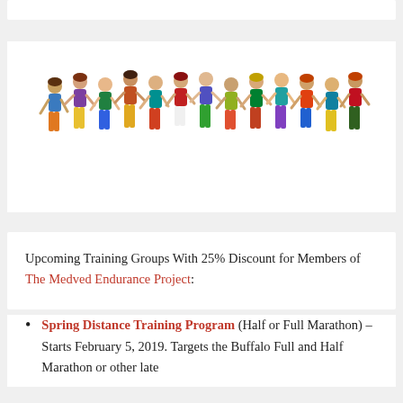[Figure (illustration): Colorful illustration of a group of runners in various colored outfits running together, depicted as cartoon/clip-art style figures.]
Upcoming Training Groups With 25% Discount for Members of The Medved Endurance Project:
Spring Distance Training Program (Half or Full Marathon) – Starts February 5, 2019. Targets the Buffalo Full and Half Marathon or other late